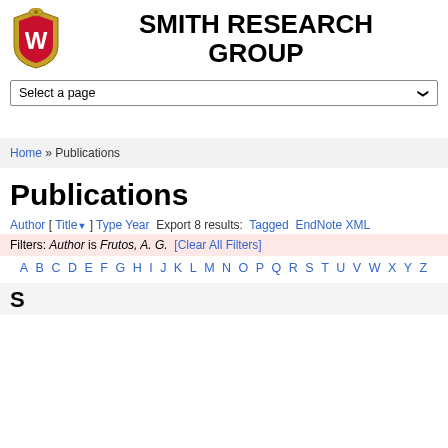[Figure (logo): University of Wisconsin crest/shield logo with W emblem]
SMITH RESEARCH GROUP
Select a page
Home » Publications
Publications
Author [ Title ] Type Year Export 8 results: Tagged EndNote XML Filters: Author is Frutos, A. G. [Clear All Filters]
A B C D E F G H I J K L M N O P Q R S T U V W X Y Z
S